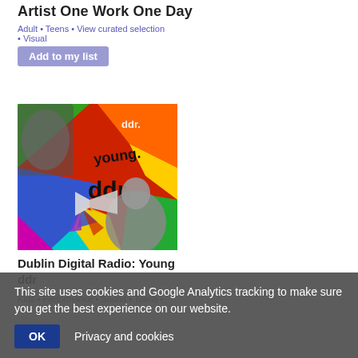Artist One Work One Day
Adult • Teens • View curated selection • Visual
Add to my list
[Figure (photo): Colorful collage image for Dublin Digital Radio: Young ddr, featuring a child with a megaphone on a vibrant multi-color background with 'young. ddr.' text]
Dublin Digital Radio: Young ddr
Kids • Performance • Sound • Teens •
This site uses cookies and Google Analytics tracking to make sure you get the best experience on our website.
OK  Privacy and cookies